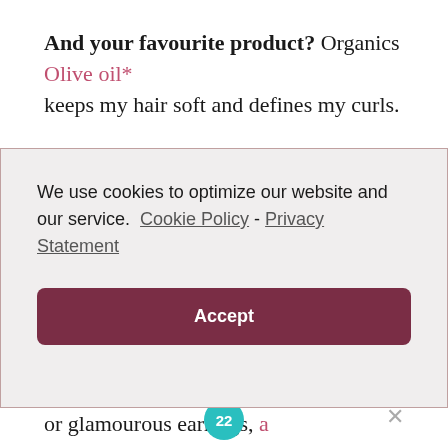And your favourite product? Organics Olive oil* keeps my hair soft and defines my curls.
We use cookies to optimize our website and our service.  Cookie Policy - Privacy Statement  Accept
or glamourous earrings, a scarf, and head out the door proud of my new found nappturality